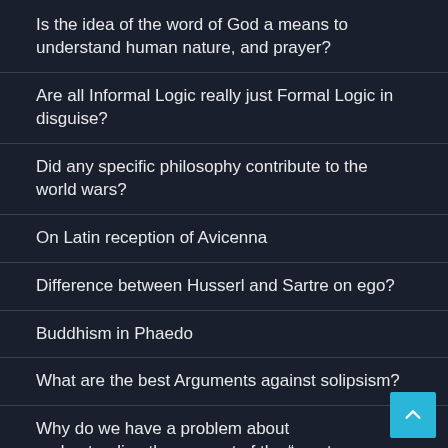Is the idea of the word of God a means to understand human nature, and prayer?
Are all Informal Logic really just Formal Logic in disguise?
Did any specific philosophy contribute to the world wars?
On Latin reception of Avicenna
Difference between Husserl and Sartre on ego?
Buddhism in Phaedo
What are the best Arguments against solipsism?
Why do we have a problem about understanding the concept of the “empty set”?